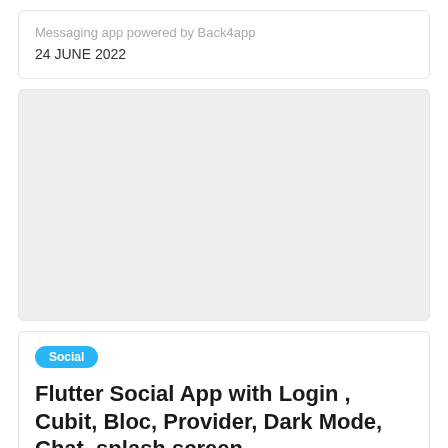Messaging app powered by Back4app
24 JUNE 2022
[Figure (other): Gray placeholder image area]
Social
Flutter Social App with Login , Cubit, Bloc, Provider, Dark Mode, Chat, splash screen